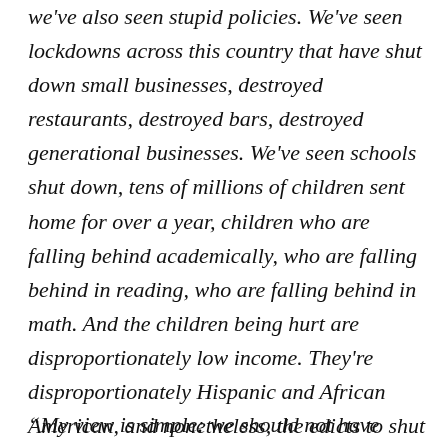we've also seen stupid policies. We've seen lockdowns across this country that have shut down small businesses, destroyed restaurants, destroyed bars, destroyed generational businesses. We've seen schools shut down, tens of millions of children sent home for over a year, children who are falling behind academically, who are falling behind in reading, who are falling behind in math. And the children being hurt are disproportionately low income. They're disproportionately Hispanic and African American, and nonetheless, the edicts to shut down schools have continued. They were utterly unjustifiable.
“My view is simple: we should not have mandates